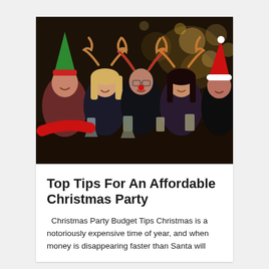[Figure (photo): A group of five young adults celebrating at a Christmas party, wearing holiday accessories (reindeer antler headbands, elf hat, Santa hat, one with a red clown nose), laughing and toasting with glasses of drinks. Background has warm bokeh lights suggesting a festive indoor bar setting.]
Top Tips For An Affordable Christmas Party
Christmas Party Budget Tips Christmas is a notoriously expensive time of year, and when money is disappearing faster than Santa will…